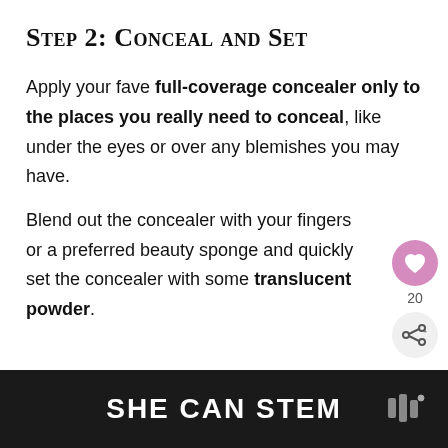Step 2: Conceal and Set
Apply your fave full-coverage concealer only to the places you really need to conceal, like under the eyes or over any blemishes you may have.
Blend out the concealer with your fingers or a preferred beauty sponge and quickly set the concealer with some translucent powder.
SHE CAN STEM